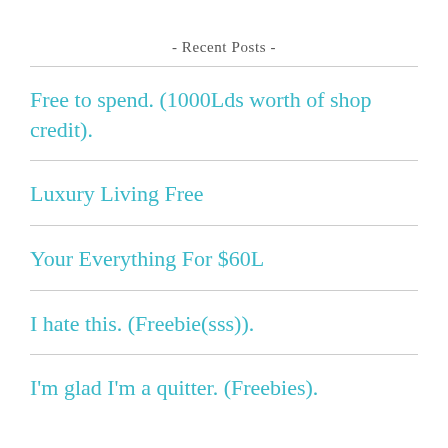- Recent Posts -
Free to spend. (1000Lds worth of shop credit).
Luxury Living Free
Your Everything For $60L
I hate this. (Freebie(sss)).
I'm glad I'm a quitter. (Freebies).